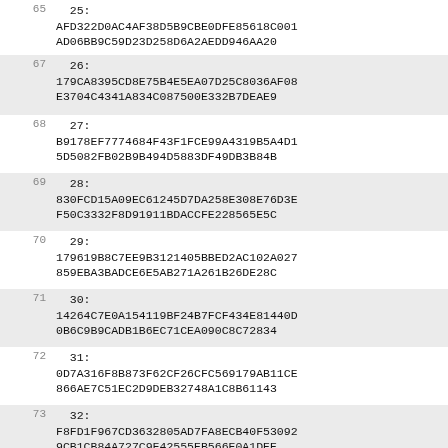65  25:
AFD322D0AC4AF38D5B9CBE0DFE85618C001
AD06BB9C59D23D258D6A2AEDD946AA20
67  26:
179CA8395CD8E75B4E5EA07D25C8036AF08
E3704C4341A834C087500E332B7DEAE9
68  27:
B9178EF7774684F43F1FCE99A4319B5A4D1
5D5082FB02B9B494D5883DF49DB3B84B
69  28:
830FCD15A09EC61245D7DA258E308E76D3E
F50C3332F8D91911BDACCFE228565E5C
70  29:
179619B8C7EE9B3121405BBED2AC102A027
859EBA3BADCE6E5AB271A261B26DE28C
71  30:
14264C7E0A154119BF24B7FCF434E81440D
0B6C9B9CADB1B6EC71CEA090C8C72834
72  31:
0D7A316F8B873F62CF26CFC569179AB11CE
866AE7C51EC2D9DEB32748A1C8B61143
73  32:
F8FD1F967CD3632805AD7FA8ECB40F53092
9CB1CB84A727C9F42555EB566E0A1DEE
74
75  GCM-safer+ (16 byte key)
76   0: ,
F769B436C7FB7C0C822E24BB2B2555D3
77   1: CA,
B156298625F5634FA012B23044437807
78   2: 4960,